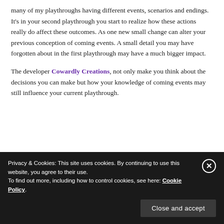many of my playthroughs having different events, scenarios and endings. It's in your second playthrough you start to realize how these actions really do affect these outcomes. As one new small change can alter your previous conception of coming events. A small detail you may have forgotten about in the first playthrough may have a much bigger impact.
The developer Cowardly Creations, not only make you think about the decisions you can make but how your knowledge of coming events may still influence your current playthrough.
Privacy & Cookies: This site uses cookies. By continuing to use this website, you agree to their use.
To find out more, including how to control cookies, see here: Cookie Policy